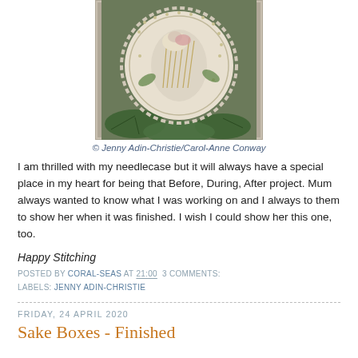[Figure (photo): A decorative embroidered needlecase displayed outdoors on leaves and pebbles. The piece shows intricate needlework with a bird/harp design, beading, and colorful threads, circular in shape with a serrated edge.]
© Jenny Adin-Christie/Carol-Anne Conway
I am thrilled with my needlecase but it will always have a special place in my heart for being that Before, During, After project. Mum always wanted to know what I was working on and I always to them to show her when it was finished. I wish I could show her this one, too.
Happy Stitching
POSTED BY CORAL-SEAS AT 21:00  3 COMMENTS:
LABELS: JENNY ADIN-CHRISTIE
FRIDAY, 24 APRIL 2020
Sake Boxes - Finished